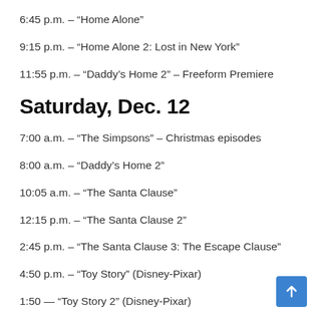6:45 p.m. – “Home Alone”
9:15 p.m. – “Home Alone 2: Lost in New York”
11:55 p.m. – “Daddy’s Home 2” – Freeform Premiere
Saturday, Dec. 12
7:00 a.m. – “The Simpsons” – Christmas episodes
8:00 a.m. – “Daddy’s Home 2”
10:05 a.m. – “The Santa Clause”
12:15 p.m. – “The Santa Clause 2”
2:45 p.m. – “The Santa Clause 3: The Escape Clause”
4:50 p.m. – “Toy Story” (Disney-Pixar)
1:50 — “Toy Story 2” (Disney-Pixar)